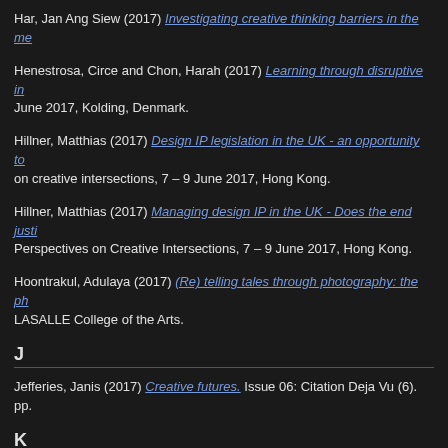Har, Jan Ang Siew (2017) Investigating creative thinking barriers in the me…
Henestrosa, Circe and Chon, Harah (2017) Learning through disruptive in… June 2017, Kolding, Denmark.
Hillner, Matthias (2017) Design IP legislation in the UK - an opportunity to… on creative intersections, 7 – 9 June 2017, Hong Kong.
Hillner, Matthias (2017) Managing design IP in the UK - Does the end justi… Perspectives on Creative Intersections, 7 – 9 June 2017, Hong Kong.
Hoontrakul, Adulaya (2017) (Re) telling tales through photography: the ph… LASALLE College of the Arts.
J
Jefferies, Janis (2017) Creative futures. Issue 06: Citation Deja Vu (6). pp.
K
Kaplan, Kristin (2017) An exploration into docent training and support. Ma…
Kelly, Joanne and Levey, Amanda and Lay, Ronald Paul-Michael Henry (2… Therapy – Eastern and Western Perspectives, 3 (1). pp. 14-25. ISSN 1470…
Kuball, Mischa and Muller, Vanessa Joan (2017) 'Public preposition' - deja…